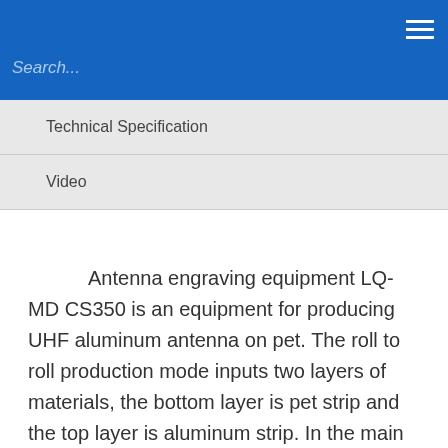Search...
Technical Specification
Video
Antenna engraving equipment LQ-MD CS350 is an equipment for producing UHF aluminum antenna on pet. The roll to roll production mode inputs two layers of materials, the bottom layer is pet strip and the top layer is aluminum strip. In the main cutting procedure, the milling wheel removes the excess aluminum from the strip, the rest forms an antenna layout, and the milling head does not touch the pet strip. In order to flexibly adapt to the production of different antennas, the magnetic roller can be easily equipped with different knife dies. The integrated cleaning station with fixed brush head and suction